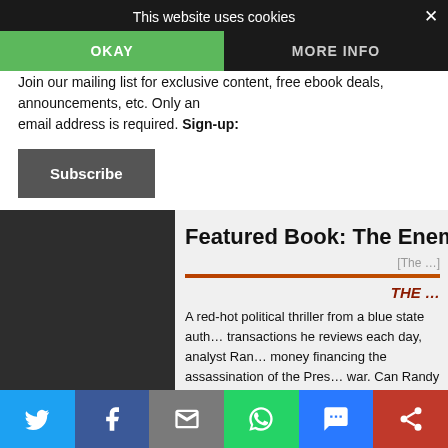This website uses cookies
OKAY
MORE INFO
Join our mailing list for exclusive content, free ebook deals, announcements, etc. Only an email address is required. Sign-up:
Subscribe
Featured Book: The Enem…
[Figure (other): Book cover image placeholder labelled 'The ...']
THE …
A red-hot political thriller from a blue state auth… transactions he reviews each day, analyst Ran… money financing the assassination of the Pres… war. Can Randy and his law-student daughter… in time? In a political thriller worthy of Dan Bro…
[Figure (other): Social sharing bar with Twitter, Facebook, Email, WhatsApp, SMS, and another share button]